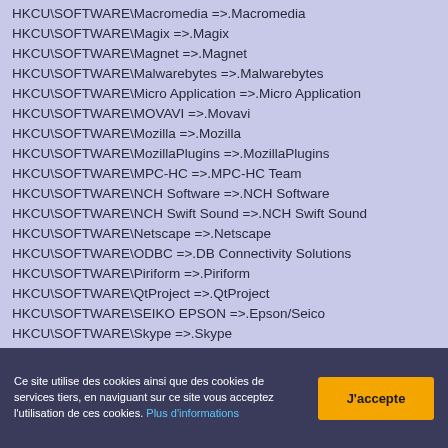HKCU\SOFTWARE\Macromedia =>.Macromedia
HKCU\SOFTWARE\Magix =>.Magix
HKCU\SOFTWARE\Magnet =>.Magnet
HKCU\SOFTWARE\Malwarebytes =>.Malwarebytes
HKCU\SOFTWARE\Micro Application =>.Micro Application
HKCU\SOFTWARE\MOVAVI =>.Movavi
HKCU\SOFTWARE\Mozilla =>.Mozilla
HKCU\SOFTWARE\MozillaPlugins =>.MozillaPlugins
HKCU\SOFTWARE\MPC-HC =>.MPC-HC Team
HKCU\SOFTWARE\NCH Software =>.NCH Software
HKCU\SOFTWARE\NCH Swift Sound =>.NCH Swift Sound
HKCU\SOFTWARE\Netscape =>.Netscape
HKCU\SOFTWARE\ODBC =>.DB Connectivity Solutions
HKCU\SOFTWARE\Piriform =>.Piriform
HKCU\SOFTWARE\QtProject =>.QtProject
HKCU\SOFTWARE\SEIKO EPSON =>.Epson/Seico
HKCU\SOFTWARE\Skype =>.Skype
HKCU\SOFTWARE\Trolltech =>.Trolltech
HKCU\SOFTWARE\Unchecky =>.RaMMicHaeL
HKCU\SOFTWARE\VB and VBA Program Settings
Ce site utilise des cookies ainsi que des cookies de services tiers, en naviguant sur ce site vous acceptez l'utilisation de ces cookies. Plus d'informations
J'accepte